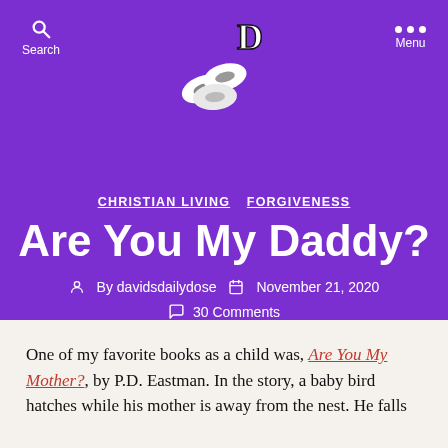Search | [Logo: David's Daily Dose] | Menu
CHRISTIAN LIVING   FORGIVENESS
Are You My Daddy?
By davidsdailydose   November 21, 2020
30 Comments
One of my favorite books as a child was, Are You My Mother?, by P.D. Eastman. In the story, a baby bird hatches while his mother is away from the nest. He falls